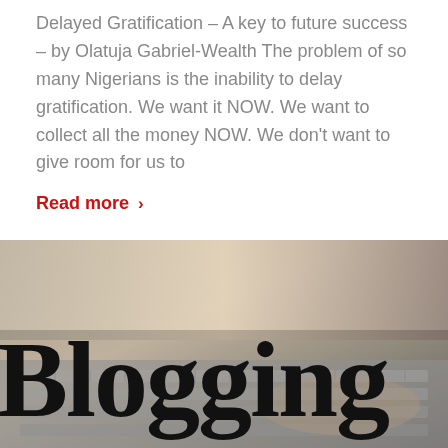Delayed Gratification – A key to future success – by Olatuja Gabriel-Wealth The problem of so many Nigerians is the inability to delay gratification. We want it NOW. We want to collect all the money NOW. We don't want to give room for us to
Read more ›
[Figure (photo): A photo of a laptop keyboard with the large bold word 'Blogging' overlaid in black serif font on a blurred warm-toned background.]